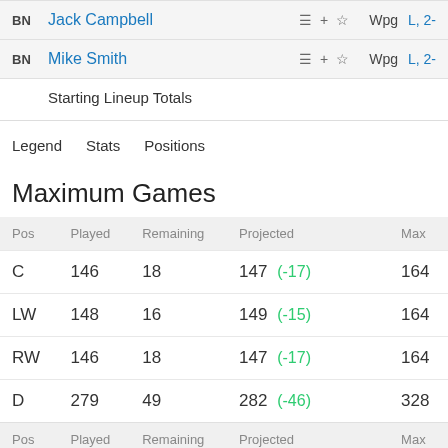| Pos | Player |  | Team | Result |
| --- | --- | --- | --- | --- |
| BN | Jack Campbell | ☰ + ☆ | Wpg | L, 2- |
| BN | Mike Smith | ☰ + ☆ | Wpg | L, 2- |
Starting Lineup Totals
Legend   Stats   Positions
Maximum Games
| Pos | Played | Remaining | Projected | Max |
| --- | --- | --- | --- | --- |
| C | 146 | 18 | 147 (-17) | 164 |
| LW | 148 | 16 | 149 (-15) | 164 |
| RW | 146 | 18 | 147 (-17) | 164 |
| D | 279 | 49 | 282 (-46) | 328 |
| Pos | Played | Remaining | Projected | Max |